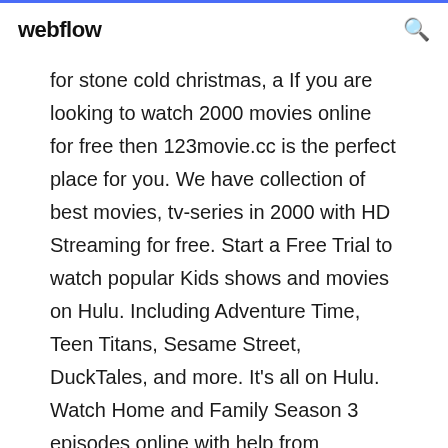webflow
for stone cold christmas, a If you are looking to watch 2000 movies online for free then 123movie.cc is the perfect place for you. We have collection of best movies, tv-series in 2000 with HD Streaming for free. Start a Free Trial to watch popular Kids shows and movies on Hulu. Including Adventure Time, Teen Titans, Sesame Street, DuckTales, and more. It's all on Hulu. Watch Home and Family Season 3 episodes online with help from SideReel. We connect you to show links, recaps, reviews, news and more. A Cyborg has been sent from the future on a deadly mission, it has been programmed to kill a young woman named Sarah Connor. Sarah has no idea that her life